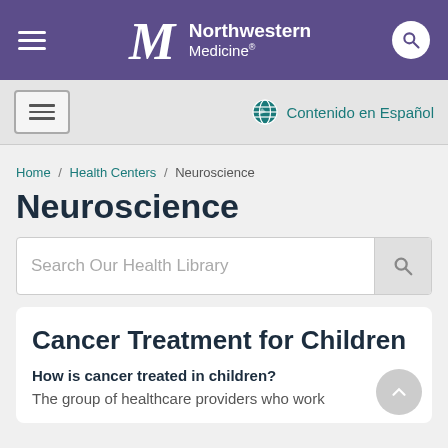[Figure (logo): Northwestern Medicine logo with hamburger menu and search icon on purple navigation bar]
[Figure (screenshot): Secondary navigation bar with hamburger menu box and Contenido en Español link with globe icon]
Home / Health Centers / Neuroscience
Neuroscience
[Figure (screenshot): Search bar with placeholder text 'Search Our Health Library' and search icon button]
Cancer Treatment for Children
How is cancer treated in children?
The group of healthcare providers who work